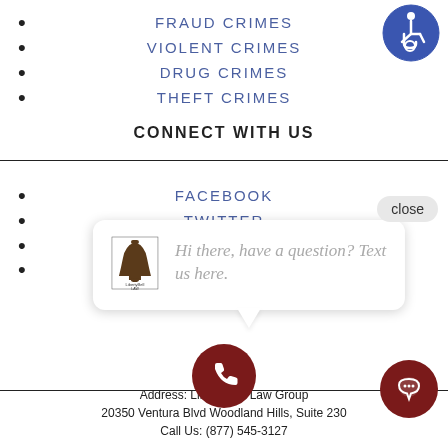FRAUD CRIMES
VIOLENT CRIMES
DRUG CRIMES
THEFT CRIMES
CONNECT WITH US
FACEBOOK
TWITTER
YOUTUBE
[Figure (illustration): Accessibility icon - blue circle with white wheelchair user symbol]
[Figure (illustration): Close button overlay with text 'close']
[Figure (illustration): Chat bubble popup with Liberty Bell Law Group logo and text 'Hi there, have a question? Text us here.']
Address: LibertyBell Law Group
20350 Ventura Blvd Woodland Hills, Suite 230
Call Us: (877) 545-3127